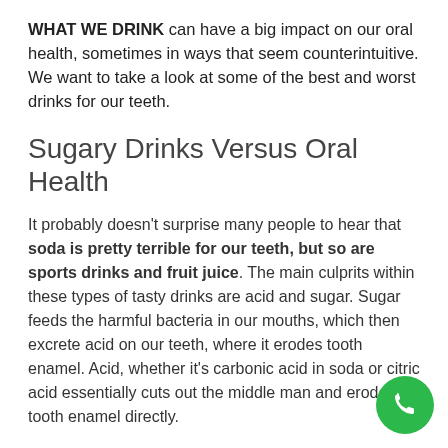WHAT WE DRINK can have a big impact on our oral health, sometimes in ways that seem counterintuitive. We want to take a look at some of the best and worst drinks for our teeth.
Sugary Drinks Versus Oral Health
It probably doesn't surprise many people to hear that soda is pretty terrible for our teeth, but so are sports drinks and fruit juice. The main culprits within these types of tasty drinks are acid and sugar. Sugar feeds the harmful bacteria in our mouths, which then excrete acid on our teeth, where it erodes tooth enamel. Acid, whether it's carbonic acid in soda or citric acid essentially cuts out the middle man and erodes tooth enamel directly.
[Figure (other): Green circular phone call button in the bottom-right corner]